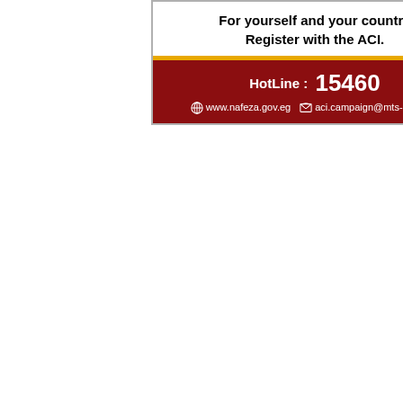For yourself and your country Register with the ACI.
HotLine : 15460
www.nafeza.gov.eg  aci.campaign@mts-egy.com